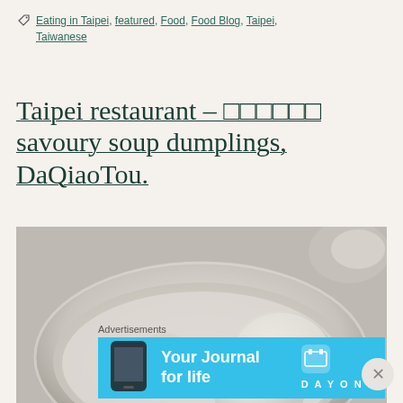Eating in Taipei, featured, Food, Food Blog, Taipei, Taiwanese
Taipei restaurant – □□□□□□ savoury soup dumplings, DaQiaoTou.
[Figure (photo): A white ceramic bowl filled with soup dumplings (wontons/tang yuan), green vegetables, and clear broth, photographed from above at a restaurant.]
Advertisements
[Figure (infographic): Day One app advertisement banner. Cyan/blue background with phone mockup on left, 'Your Journal for life' text in center, and Day One logo on right.]